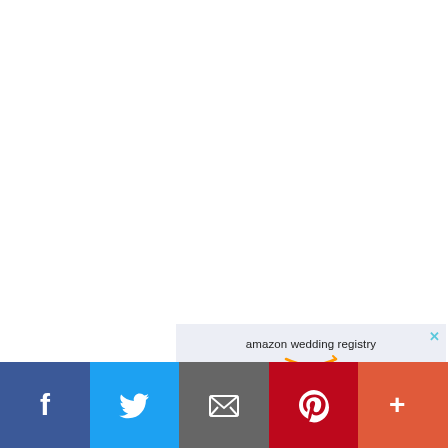[Figure (screenshot): White empty space above the advertisement.]
[Figure (infographic): Amazon Wedding Registry advertisement banner with light lavender background. Shows 'amazon wedding registry' text with Amazon smile arrow logo, and headline 'All you, one registry.']
[Figure (infographic): Social sharing bar at bottom with Facebook (blue), Twitter (light blue), Email (gray), Pinterest (red), and More (orange-red) buttons.]